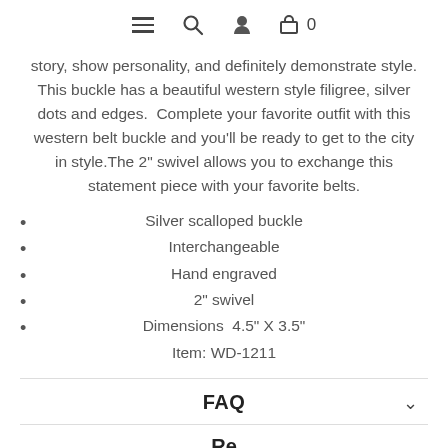≡ 🔍 👤 🛒 0
story, show personality, and definitely demonstrate style. This buckle has a beautiful western style filigree, silver dots and edges. Complete your favorite outfit with this western belt buckle and you'll be ready to get to the city in style.The 2" swivel allows you to exchange this statement piece with your favorite belts.
Silver scalloped buckle
Interchangeable
Hand engraved
2" swivel
Dimensions  4.5" X 3.5"
Item: WD-1211
FAQ
Reviews